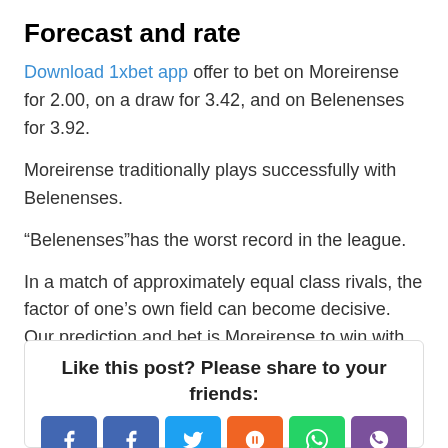Forecast and rate
Download 1xbet app offer to bet on Moreirense for 2.00, on a draw for 3.42, and on Belenenses for 3.92.
Moreirense traditionally plays successfully with Belenenses.
“Belenenses”has the worst record in the league.
In a match of approximately equal class rivals, the factor of one’s own field can become decisive. Our prediction and bet is Moreirense to win with odds of 2.00.
□ 0
Like this post? Please share to your friends: